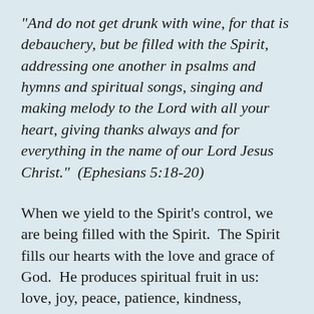“And do not get drunk with wine, for that is debauchery, but be filled with the Spirit, addressing one another in psalms and hymns and spiritual songs, singing and making melody to the Lord with all your heart, giving thanks always and for everything in the name of our Lord Jesus Christ.”  (Ephesians 5:18-20)
When we yield to the Spirit’s control, we are being filled with the Spirit.  The Spirit fills our hearts with the love and grace of God.  He produces spiritual fruit in us:  love, joy, peace, patience, kindness, goodness, faithfulness, gentleness